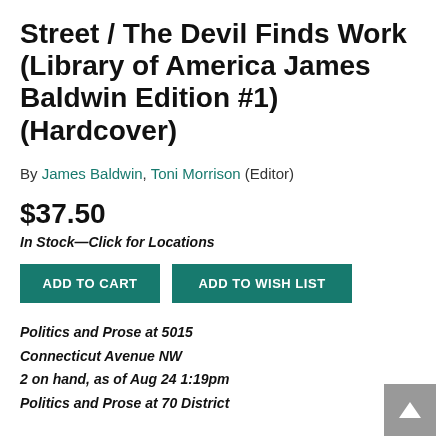Street / The Devil Finds Work (Library of America James Baldwin Edition #1) (Hardcover)
By James Baldwin, Toni Morrison (Editor)
$37.50
In Stock—Click for Locations
ADD TO CART
ADD TO WISH LIST
Politics and Prose at 5015
Connecticut Avenue NW
2 on hand, as of Aug 24 1:19pm
Politics and Prose at 70 District